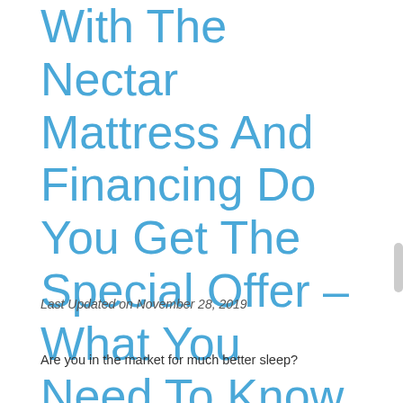With The Nectar Mattress And Financing Do You Get The Special Offer – What You Need To Know
Last Updated on November 28, 2019
Are you in the market for much better sleep?